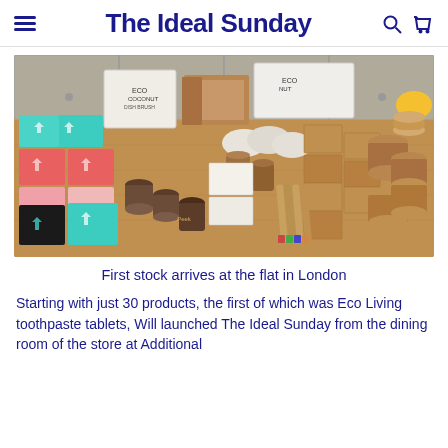The Ideal Sunday
[Figure (photo): Photo of eco-friendly products and packaging spread across a table in a flat in London. Includes pink, red, teal and black boxes, kraft cardboard tubes, toothbrush and toothpaste packaging, bamboo toothbrushes, and various eco product boxes.]
First stock arrives at the flat in London
Starting with just 30 products, the first of which was Eco Living toothpaste tablets, Will launched The Ideal Sunday from the dining room of the store at Additional